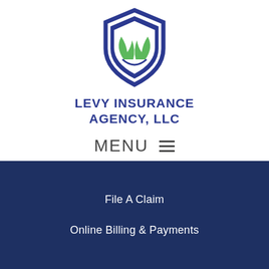[Figure (logo): Levy Insurance Agency LLC shield logo with green leaves and blue shield design]
LEVY INSURANCE AGENCY, LLC
MENU ≡
File A Claim
Online Billing & Payments